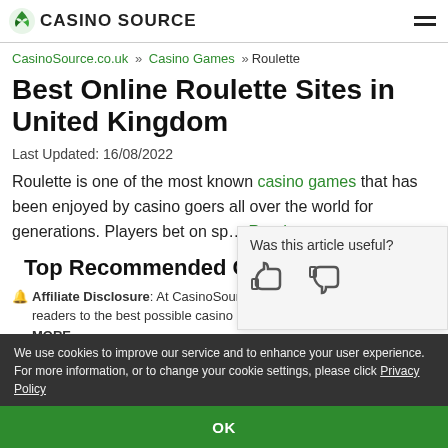CASINO SOURCE
CasinoSource.co.uk » Casino Games »Roulette
Best Online Roulette Sites in United Kingdom
Last Updated: 16/08/2022
Roulette is one of the most known casino games that has been enjoyed by casino goers all over the world for generations. Players bet on sp… Read more
Top Recommended Casinos
🔔 Affiliate Disclosure: At CasinoSource we work hard to match our readers to the best possible casino offers that meet players' needs. MORE
Was this article useful?
We use cookies to improve our service and to enhance your user experience. For more information, or to change your cookie settings, please click Privacy Policy
OK